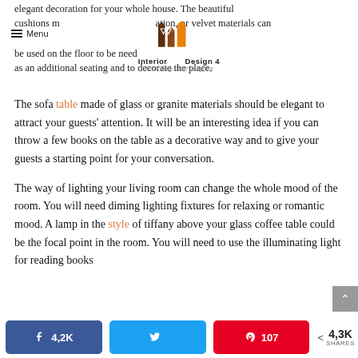elegant decoration for your whole house. The beautiful cushions m… ation, or velvet materials can be used on the floor to be need as an additional seating and to decorate the place.
The sofa table made of glass or granite materials should be elegant to attract your guests' attention. It will be an interesting idea if you can throw a few books on the table as a decorative way and to give your guests a starting point for your conversation.
The way of lighting your living room can change the whole mood of the room. You will need diming lighting fixtures for relaxing or romantic mood. A lamp in the style of tiffany above your glass coffee table could be the focal point in the room. You will need to use the illuminating light for reading books
4,2K | Twitter share | 107 | < 4,3K SHARES